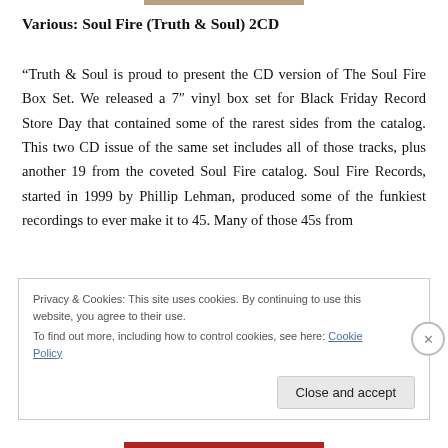Various: Soul Fire (Truth & Soul) 2CD
“Truth & Soul is proud to present the CD version of The Soul Fire Box Set. We released a 7″ vinyl box set for Black Friday Record Store Day that contained some of the rarest sides from the catalog. This two CD issue of the same set includes all of those tracks, plus another 19 from the coveted Soul Fire catalog. Soul Fire Records, started in 1999 by Phillip Lehman, produced some of the funkiest recordings to ever make it to 45. Many of those 45s from
Privacy & Cookies: This site uses cookies. By continuing to use this website, you agree to their use.
To find out more, including how to control cookies, see here: Cookie Policy
Close and accept